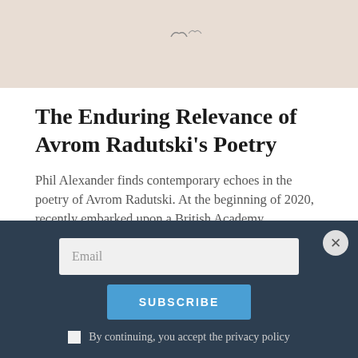[Figure (photo): Top portion of an image with a pale beige/skin-tone background and faint small bird or mark shapes near the center-top.]
The Enduring Relevance of Avrom Radutski's Poetry
Phil Alexander finds contemporary echoes in the poetry of Avrom Radutski. At the beginning of 2020, recently embarked upon a British Academy fellowship exploring Scottish-Jewish musical encounters, I was looking forward to days spent leisurely mining the Garnethill Synagogue Archives, the National Library of Scotland,
Email
SUBSCRIBE
By continuing, you accept the privacy policy